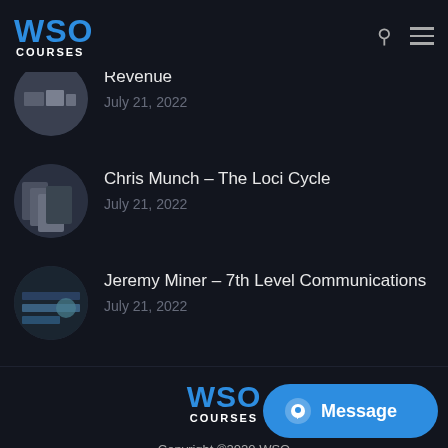[Figure (logo): WSO Courses logo in blue and white in the top-left header]
Revenue
July 21, 2022
Chris Munch – The Loci Cycle
July 21, 2022
Jeremy Miner – 7th Level Communications
July 21, 2022
[Figure (logo): WSO Courses footer logo in blue and white, centered]
Copyright ©2020 WSO
Legal
[Figure (other): Blue Message button with chat icon in bottom right]